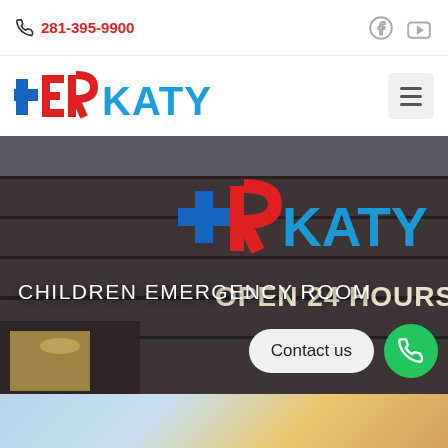281-395-9900
[Figure (logo): ER Katy logo with red cross and blue/red text reading ER KATY]
[Figure (photo): Exterior of ER Katy building at night with illuminated sign showing ER KATY and OPEN 24 HOURS]
CHILDREN EMERGENCY ROOM
Contact us